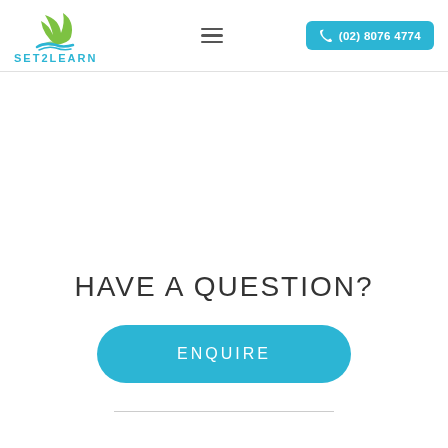SET2LEARN | (02) 8076 4774
HAVE A QUESTION?
ENQUIRE